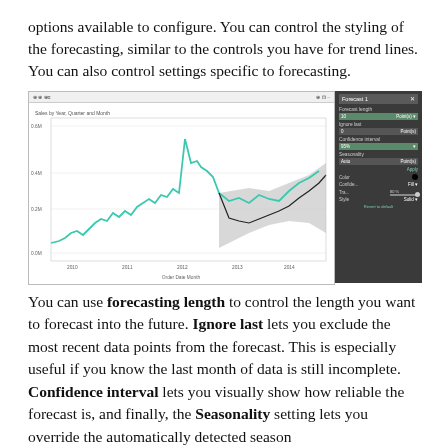options available to configure. You can control the styling of the forecasting, similar to the controls you have for trend lines. You can also control settings specific to forecasting.
[Figure (screenshot): Screenshot of a Tableau forecasting visualization showing a line chart titled 'Sales by Year, Quarter and Month' with a teal line for historical data and a gray shaded forecast region, alongside a 'Forecast 1' configuration panel with options for Forecast length, Ignore last, Confidence interval (95%), Seasonality, Color, Confidence, Transparency (80%), Style (Solid), and Revert to default.]
You can use forecasting length to control the length you want to forecast into the future. Ignore last lets you exclude the most recent data points from the forecast. This is especially useful if you know the last month of data is still incomplete. Confidence interval lets you visually show how reliable the forecast is, and finally, the Seasonality setting lets you override the automatically detected season